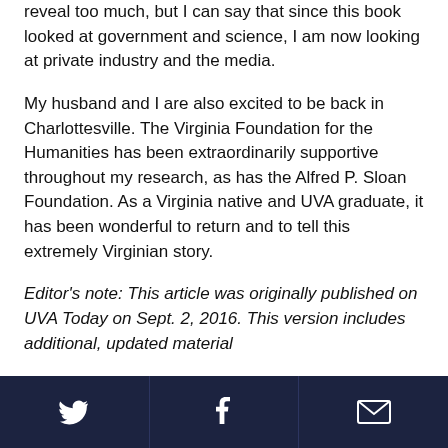reveal too much, but I can say that since this book looked at government and science, I am now looking at private industry and the media.
My husband and I are also excited to be back in Charlottesville. The Virginia Foundation for the Humanities has been extraordinarily supportive throughout my research, as has the Alfred P. Sloan Foundation. As a Virginia native and UVA graduate, it has been wonderful to return and to tell this extremely Virginian story.
Editor's note: This article was originally published on UVA Today on Sept. 2, 2016. This version includes additional, updated material
Twitter | Facebook | Email